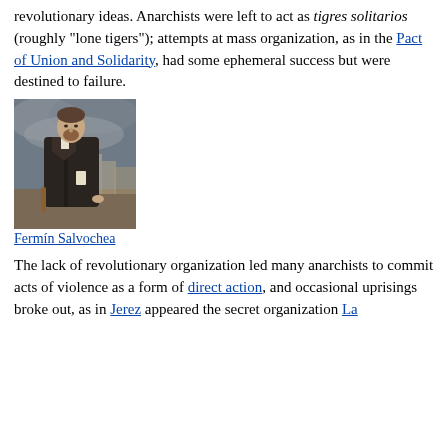revolutionary ideas. Anarchists were left to act as tigres solitarios (roughly "lone tigers"); attempts at mass organization, as in the Pact of Union and Solidarity, had some ephemeral success but were destined to failure.
[Figure (photo): Oil painting portrait of Fermín Salvochea, a man in a dark coat standing before a cloudy sky and city background, holding a cane.]
Fermín Salvochea
The lack of revolutionary organization led many anarchists to commit acts of violence as a form of direct action, and occasional uprisings broke out, as in Jerez appeared the secret organization La...